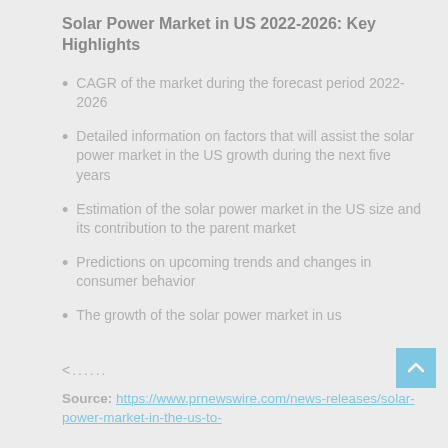Solar Power Market in US 2022-2026: Key Highlights
CAGR of the market during the forecast period 2022-2026
Detailed information on factors that will assist the solar power market in the US growth during the next five years
Estimation of the solar power market in the US size and its contribution to the parent market
Predictions on upcoming trends and changes in consumer behavior
The growth of the solar power market in us
<......
Source: https://www.prnewswire.com/news-releases/solar-power-market-in-the-us-to-